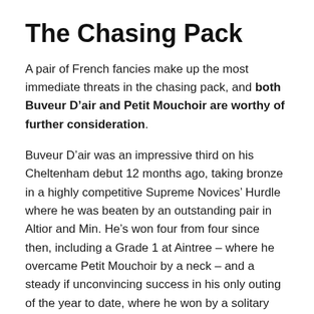The Chasing Pack
A pair of French fancies make up the most immediate threats in the chasing pack, and both Buveur D’air and Petit Mouchoir are worthy of further consideration.
Buveur D’air was an impressive third on his Cheltenham debut 12 months ago, taking bronze in a highly competitive Supreme Novices’ Hurdle where he was beaten by an outstanding pair in Altior and Min. He’s won four from four since then, including a Grade 1 at Aintree – where he overcame Petit Mouchoir by a neck – and a steady if unconvincing success in his only outing of the year to date, where he won by a solitary length as a 1/4 favourite.